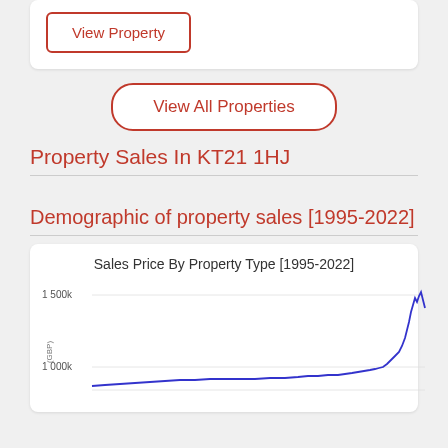View Property
View All Properties
Property Sales In KT21 1HJ
Demographic of property sales [1995-2022]
[Figure (line-chart): Line chart showing sales price by property type from 1995 to 2022, with y-axis showing values at 1 000k and 1 500k. A blue line rises sharply towards the right end (recent years), peaking around 1 500k.]